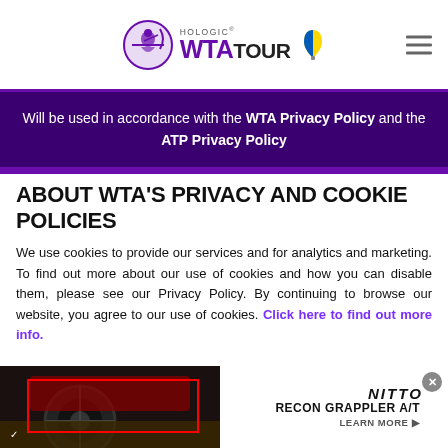Hologic WTA Tour
Will be used in accordance with the WTA Privacy Policy and the ATP Privacy Policy
ABOUT WTA'S PRIVACY AND COOKIE POLICIES
We use cookies to provide our services and for analytics and marketing. To find out more about our use of cookies and how you can disable them, please see our Privacy Policy. By continuing to browse our website, you agree to our use of cookies. Click here to find out more info.
[Figure (photo): Nitto Recon Grappler A/T advertisement banner showing off-road tire on a vehicle, with red border highlight box and close button]